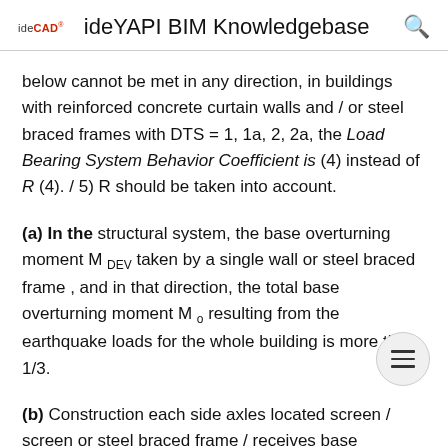ideCAD — ideYAPI BIM Knowledgebase
below cannot be met in any direction, in buildings with reinforced concrete curtain walls and / or steel braced frames with DTS = 1, 1a, 2, 2a, the Load Bearing System Behavior Coefficient is (4) instead of R (4). / 5) R should be taken into account.
(a) In the structural system, the base overturning moment M DEV taken by a single wall or steel braced frame , and in that direction, the total base overturning moment M o resulting from the earthquake loads for the whole building is more than 1/3.
(b) Construction each side axles located screen / screen or steel braced frame / receives base